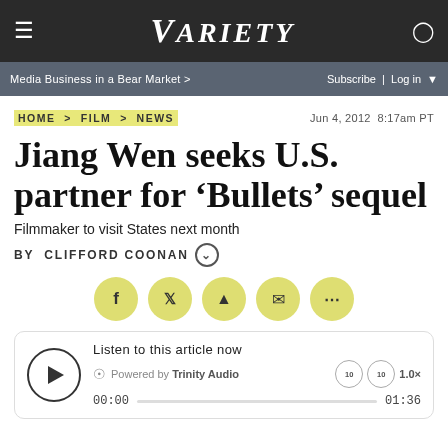VARIETY
Media Business in a Bear Market > | Subscribe | Log in
HOME > FILM > NEWS
Jun 4, 2012 8:17am PT
Jiang Wen seeks U.S. partner for 'Bullets' sequel
Filmmaker to visit States next month
By Clifford Coonan
[Figure (infographic): Social sharing buttons: Facebook, Twitter, Reddit, Email, More]
Listen to this article now
Powered by Trinity Audio
00:00  01:36